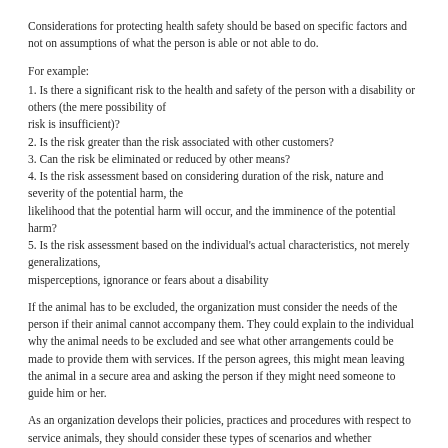Considerations for protecting health safety should be based on specific factors and not on assumptions of what the person is able or not able to do.
For example:
1. Is there a significant risk to the health and safety of the person with a disability or others (the mere possibility of risk is insufficient)?
2. Is the risk greater than the risk associated with other customers?
3. Can the risk be eliminated or reduced by other means?
4. Is the risk assessment based on considering duration of the risk, nature and severity of the potential harm, the likelihood that the potential harm will occur, and the imminence of the potential harm?
5. Is the risk assessment based on the individual's actual characteristics, not merely generalizations, misperceptions, ignorance or fears about a disability
If the animal has to be excluded, the organization must consider the needs of the person if their animal cannot accompany them. They could explain to the individual why the animal needs to be excluded and see what other arrangements could be made to provide them with services. If the person agrees, this might mean leaving the animal in a secure area and asking the person if they might need someone to guide him or her.
As an organization develops their policies, practices and procedures with respect to service animals, they should consider these types of scenarios and whether alternative measures could be offered if an assessment limits access on health and safety grounds. Staff must be trained on the resort's policies